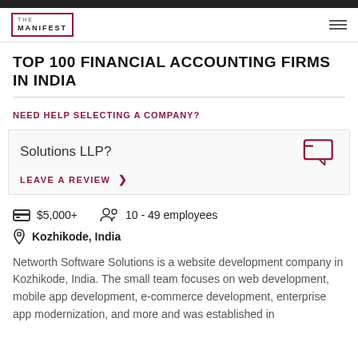[Figure (logo): The Manifest logo in top navigation bar]
TOP 100 FINANCIAL ACCOUNTING FIRMS IN INDIA
NEED HELP SELECTING A COMPANY?
Solutions LLP?
LEAVE A REVIEW >
$5,000+  10 - 49 employees
Kozhikode, India
Networth Software Solutions is a website development company in Kozhikode, India. The small team focuses on web development, mobile app development, e-commerce development, enterprise app modernization, and more and was established in